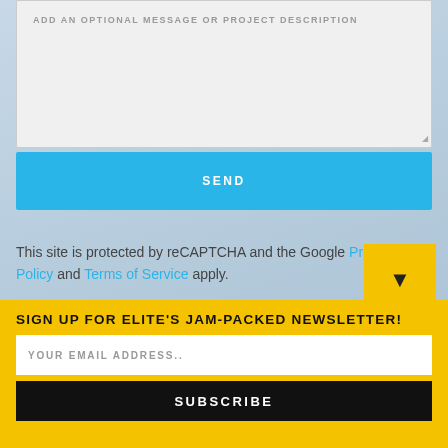[Figure (screenshot): Textarea input field with placeholder text 'ADD AN OPTIONAL MESSAGE OR PROJECT DESCRIPTION' on a light grey background]
SEND
This site is protected by reCAPTCHA and the Google Privacy Policy and Terms of Service apply.
SIGN UP FOR ELITE'S JAM-PACKED NEWSLETTER!
YOUR EMAIL ADDRESS..
SUBSCRIBE